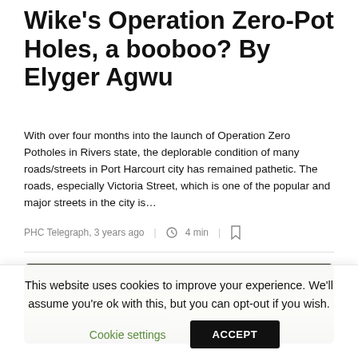Wike's Operation Zero-Pot Holes, a booboo? By Elyger Agwu
With over four months into the launch of Operation Zero Potholes in Rivers state, the deplorable condition of many roads/streets in Port Harcourt city has remained pathetic. The roads, especially Victoria Street, which is one of the popular and major streets in the city is…
PHC Telegraph, 3 years ago | 4 min |
[Figure (photo): Blurred outdoor photograph, appears to show a scene with yellowish/dark tones, likely a road or street scene related to the article.]
This website uses cookies to improve your experience. We'll assume you're ok with this, but you can opt-out if you wish.
Cookie settings  ACCEPT